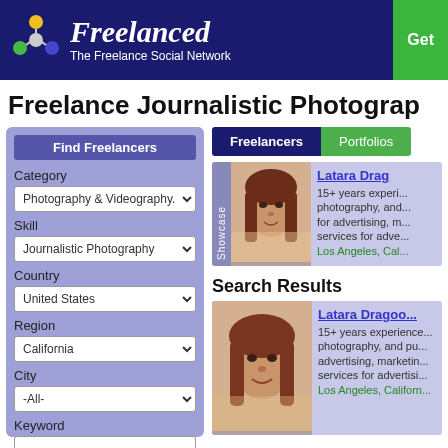[Figure (logo): Freelanced - The Freelance Social Network logo with colorful interconnected nodes icon]
Freelance Journalistic Photography
Find Freelancers
Category: Photography & Videography
Skill: Journalistic Photography
Country: United States
Region: California
City: -All-
Keyword
Freelancers | Portfolios
Latara Dra... 15+ years experi... photography, and... for advertising, m... services for adve... Los Angeles, Cal...
Search Results
Latara Dragoo... 15+ years experience... photography, and pu... advertising, marketin... services for advertisi... Los Angeles, Californ...